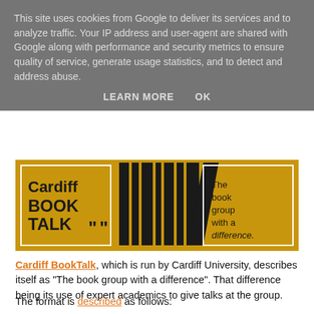This site uses cookies from Google to deliver its services and to analyze traffic. Your IP address and user-agent are shared with Google along with performance and security metrics to ensure quality of service, generate usage statistics, and to detect and address abuse.
LEARN MORE   OK
[Figure (logo): Cardiff BookTalk logo on golden/mustard yellow background. Left section shows 'Cardiff BOOK TALK' with quotation marks. Center shows stylized vertical black bars resembling books on a shelf. Right section shows text 'The book group with a difference.']
Cardiff BookTalk, which is run by Cardiff University, describes itself as "The book group with a difference". That difference being its use of expert academics to give talks at the group.
The format is described as follows: